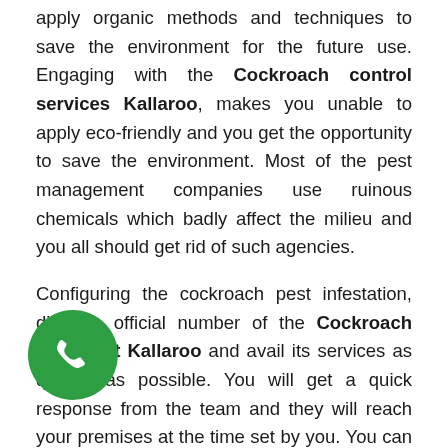apply organic methods and techniques to save the environment for the future use. Engaging with the Cockroach control services Kallaroo, makes you unable to apply eco-friendly and you get the opportunity to save the environment. Most of the pest management companies use ruinous chemicals which badly affect the milieu and you all should get rid of such agencies.

Configuring the cockroach pest infestation, dial the official number of the Cockroach treatment Kallaroo and avail its services as quickly as possible. You will get a quick response from the team and they will reach your premises at the time set by you. You can also register you complaint by having a chat with the expert of simply emailing your p[hone icon] While searching on the internet, you can compare the prices of the services they provide and make the...
[Figure (illustration): Green circular phone button icon (call button) positioned at bottom-left area]